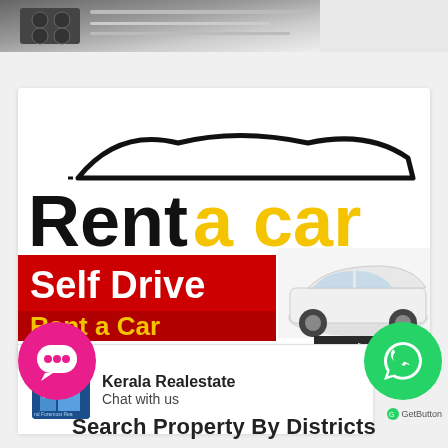[Figure (photo): Top portion of a kitchen/appliance photo, partially visible at top of page]
[Figure (illustration): Advertisement banner: 'Rent a car' with car silhouette drawing, 'Self Drive' red banner, partial yellow text below, white car photo on right side with arrow]
Kerala Realestate
Chat with us
[Figure (illustration): Pink circular chat button with ellipsis speech bubble icon]
[Figure (illustration): Green circular WhatsApp button with WhatsApp logo]
GetButton
Search Property By Districts